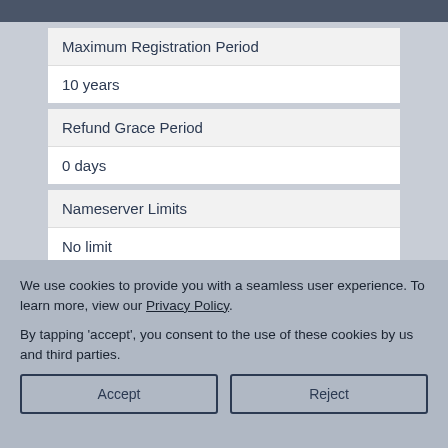| Field | Value |
| --- | --- |
| Maximum Registration Period | 10 years |
| Refund Grace Period | 0 days |
| Nameserver Limits | No limit |
We use cookies to provide you with a seamless user experience. To learn more, view our Privacy Policy.
By tapping ‘accept’, you consent to the use of these cookies by us and third parties.
Accept
Reject